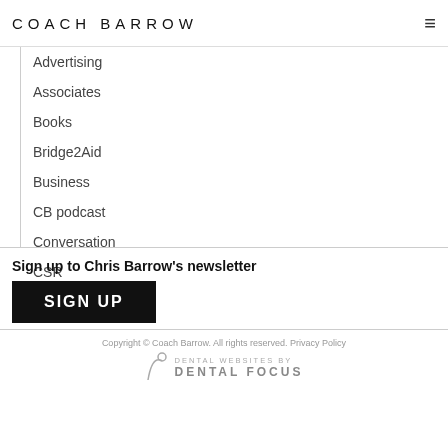COACH BARROW
Advertising
Associates
Books
Bridge2Aid
Business
CB podcast
Conversation
CSR
Sign up to Chris Barrow's newsletter
SIGN UP
Copyright © Coach Barrow. All rights reserved. Privacy Policy
DENTAL WEBSITES BY DENTAL FOCUS